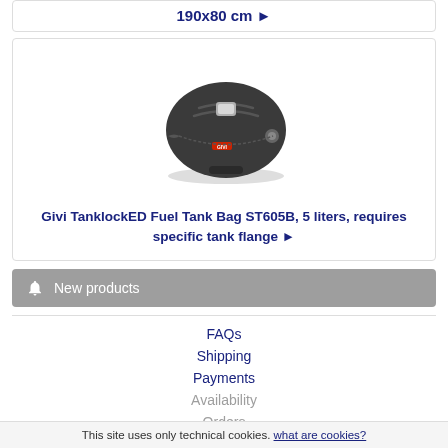190x80 cm ▶
[Figure (photo): Givi TanklockED Fuel Tank Bag ST605B product photo - dark grey hard shell motorcycle tank bag]
Givi TanklockED Fuel Tank Bag ST605B, 5 liters, requires specific tank flange ▶
🔔 New products
FAQs
Shipping
Payments
Availability
Orders
This site uses only technical cookies. what are cookies?